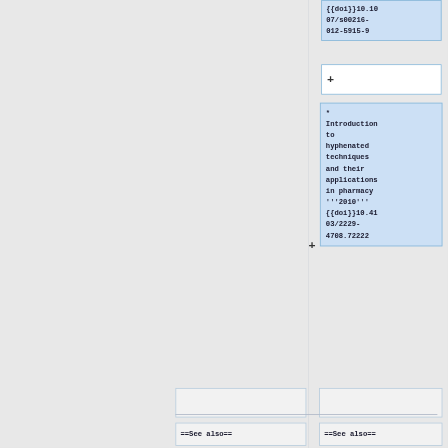{{doi}}10.1007/s00216-012-5915-9
+
* Introduction to hyphenated techniques and their applications in pharmacy '''2010''' {{doi}}10.4103/2229-4708.72222
+
==See also==
==See also==